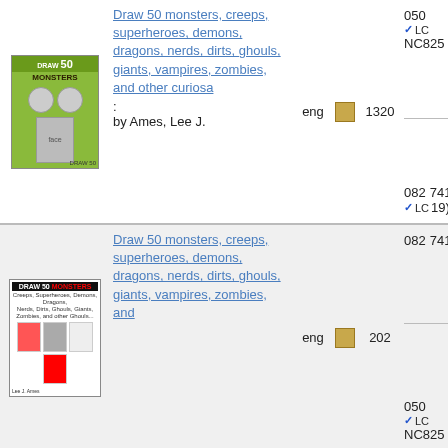| Cover | Title | Language | Format | Holdings | Classification |
| --- | --- | --- | --- | --- | --- |
| [cover image] | Draw 50 monsters, creeps, superheroes, demons, dragons, nerds, dirts, ghouls, giants, vampires, zombies, and other curiosa : by Ames, Lee J. | eng | [book icon] | 1320 | 050 NC825 / 082 741.24 19) |
| [cover image] | Draw 50 monsters, creeps, superheroes, demons, dragons, nerds, dirts, ghouls, giants, vampires, zombies, and | eng | [book icon] | 202 | 082 741.24 / 050 NC825 |